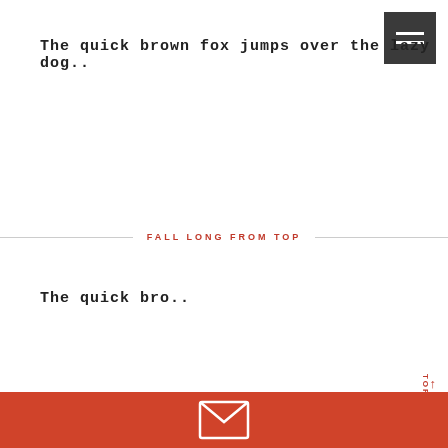The quick brown fox jumps over the lazy dog..
[Figure (other): Dark grey hamburger menu button with three white horizontal lines]
FALL LONG FROM TOP
The quick bro...
[Figure (other): Orange/red footer bar with envelope/mail icon outline in white at bottom of page]
[Figure (other): TOP label with upward arrow, vertical text on right side, in red/orange color]